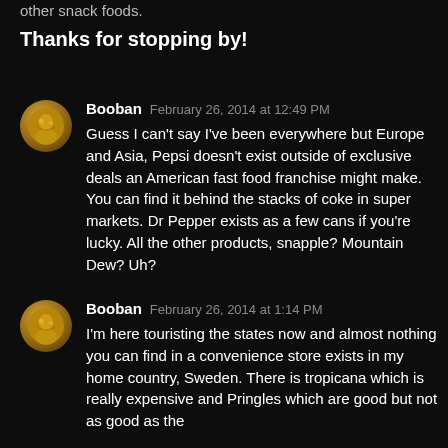other snack foods.
Thanks for stopping by!
Booban   February 26, 2014 at 12:49 PM
Guess I can't say I've been everywhere but Europe and Asia, Pepsi doesn't exist outside of exclusive deals an American fast food franchise might make. You can find it behind the stacks of coke in super markets. Dr Pepper exists as a few cans if you're lucky. All the other products, snapple? Mountain Dew? Uh?
Booban   February 26, 2014 at 1:14 PM
I'm here touristing the states now and almost nothing you can find in a convenience store exists in my home country, Sweden. There is tropicana which is really expensive and Pringles which are good but not as good as the